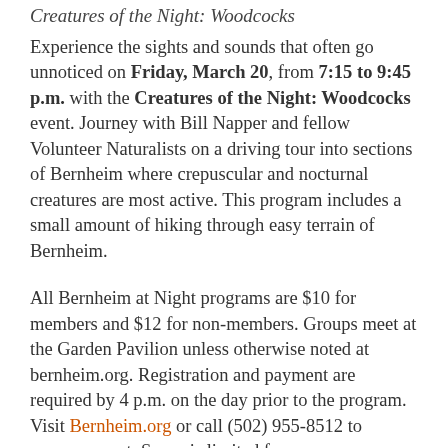Creatures of the Night: Woodcocks
Experience the sights and sounds that often go unnoticed on Friday, March 20, from 7:15 to 9:45 p.m. with the Creatures of the Night: Woodcocks event. Journey with Bill Napper and fellow Volunteer Naturalists on a driving tour into sections of Bernheim where crepuscular and nocturnal creatures are most active. This program includes a small amount of hiking through easy terrain of Bernheim.
All Bernheim at Night programs are $10 for members and $12 for non-members. Groups meet at the Garden Pavilion unless otherwise noted at bernheim.org. Registration and payment are required by 4 p.m. on the day prior to the program. Visit Bernheim.org or call (502) 955-8512 to reserve a spot. Space is limited for